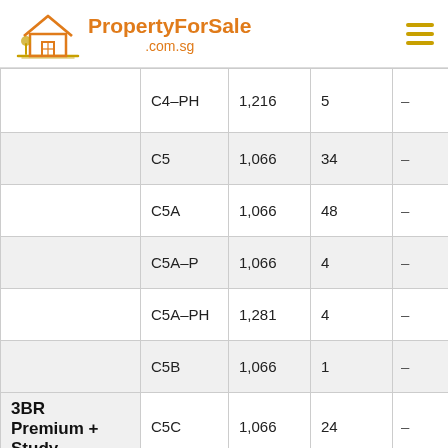PropertyForSale .com.sg
| Type | Unit Type | Size (sqft) | No. of Units | Price |
| --- | --- | --- | --- | --- |
|  | C4-PH | 1,216 | 5 | - |
|  | C5 | 1,066 | 34 | - |
|  | C5A | 1,066 | 48 | - |
|  | C5A-P | 1,066 | 4 | - |
|  | C5A-PH | 1,281 | 4 | - |
|  | C5B | 1,066 | 1 | - |
| 3BR Premium + Study | C5C | 1,066 | 24 | - |